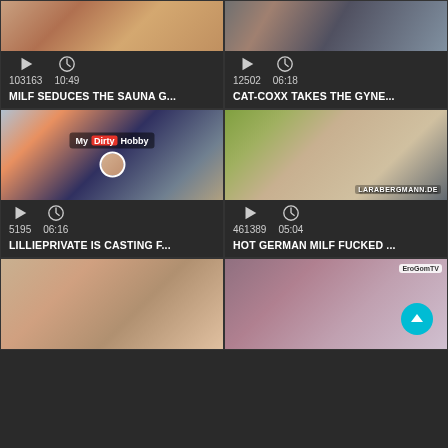[Figure (screenshot): Video thumbnail grid showing adult video content listings with play counts, durations, and titles]
103163   10:49
MILF SEDUCES THE SAUNA G...
12502   06:18
CAT-COXX TAKES THE GYNE...
[Figure (screenshot): My Dirty Hobby branded video thumbnail]
5195   06:16
LILLIEPRIVATE IS CASTING F...
[Figure (screenshot): Outdoor video thumbnail with LARABERGMANN.DE watermark]
461389   05:04
HOT GERMAN MILF FUCKED ...
[Figure (screenshot): Bottom left video thumbnail]
[Figure (screenshot): Bottom right video thumbnail with EroGomTV logo and scroll-to-top button]